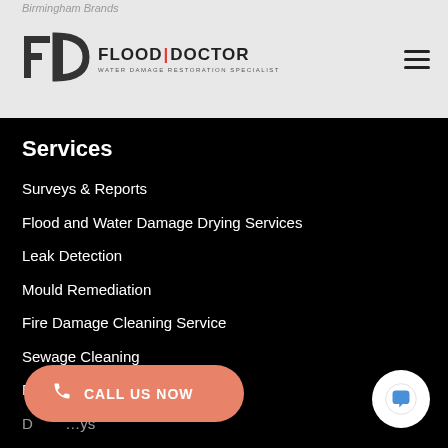Birmingham Brands
[Figure (logo): Flood Doctor logo with stylized FD icon and text 'FLOOD|DOCTOR Water Damage Restoration Specialist']
Services
Surveys & Reports
Flood and Water Damage Drying Services
Leak Detection
Mould Remediation
Fire Damage Cleaning Service
Sewage Cleaning
Basement Flooding Clean Up
CALL US NOW